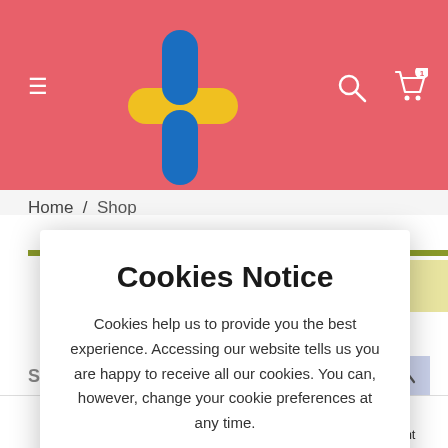[Figure (screenshot): E-commerce website header with coral/red background, plus-sign logo in blue and yellow, hamburger menu icon, search icon, and cart icon with badge showing 1 item]
Home / Shop
VIEW CART
S Shop
Cookies Notice
Cookies help us to provide you the best experience. Accessing our website tells us you are happy to receive all our cookies. You can, however, change your cookie preferences at any time.
I'LL TAKE THE COOKIES
Shop    Wishlist    Cart    Account